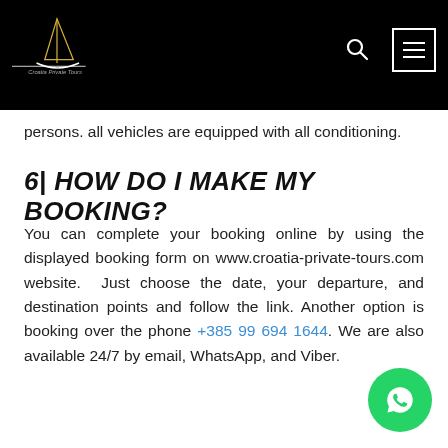Croatia Private Tours — navigation header with logo, search icon, and menu icon
persons. all vehicles are equipped with all conditioning.
6| HOW DO I MAKE MY BOOKING?
You can complete your booking online by using the displayed booking form on www.croatia-private-tours.com website.  Just choose the date, your departure, and destination points and follow the link. Another option is booking over the phone +385 99 694 1644. We are also available 24/7 by email, WhatsApp, and Viber.